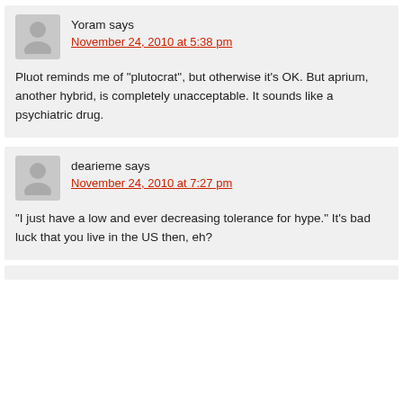Yoram says
November 24, 2010 at 5:38 pm
Pluot reminds me of “plutocrat”, but otherwise it's OK. But aprium, another hybrid, is completely unacceptable. It sounds like a psychiatric drug.
dearieme says
November 24, 2010 at 7:27 pm
“I just have a low and ever decreasing tolerance for hype.” It's bad luck that you live in the US then, eh?